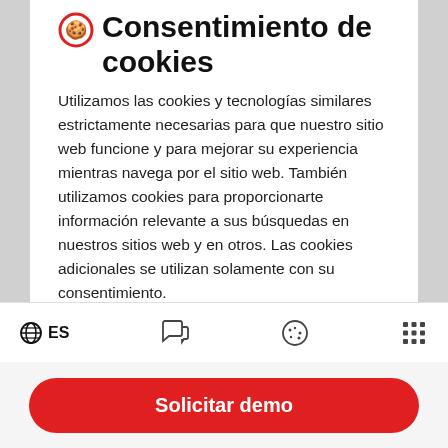Consentimiento de cookies
Utilizamos las cookies y tecnologías similares estrictamente necesarias para que nuestro sitio web funcione y para mejorar su experiencia mientras navega por el sitio web. También utilizamos cookies para proporcionarte información relevante a sus búsquedas en nuestros sitios web y en otros. Las cookies adicionales se utilizan solamente con su consentimiento.
ES  [icons: globe, chat, cookie, grid]  Solicitar demo